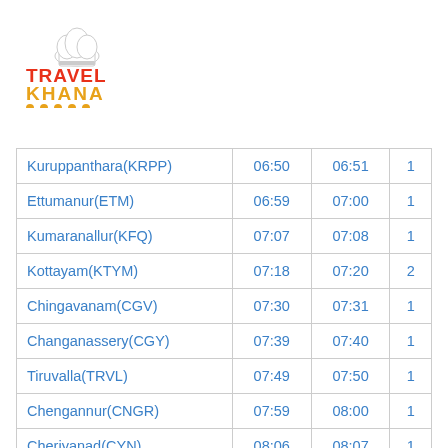[Figure (logo): TravelKhana logo with chef hat icon, red TRAVEL text and orange KHANA text with orange dots underline]
| Kuruppanthara(KRPP) | 06:50 | 06:51 | 1 |
| Ettumanur(ETM) | 06:59 | 07:00 | 1 |
| Kumaranallur(KFQ) | 07:07 | 07:08 | 1 |
| Kottayam(KTYM) | 07:18 | 07:20 | 2 |
| Chingavanam(CGV) | 07:30 | 07:31 | 1 |
| Changanassery(CGY) | 07:39 | 07:40 | 1 |
| Tiruvalla(TRVL) | 07:49 | 07:50 | 1 |
| Chengannur(CNGR) | 07:59 | 08:00 | 1 |
| Cheriyanad(CYN) | 08:06 | 08:07 | 1 |
| Mavelikara(MVLK) | 08:14 | 08:15 | 1 |